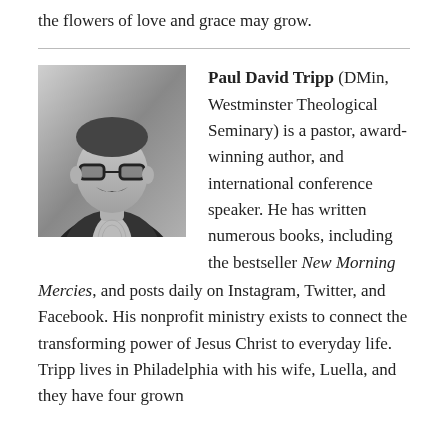the flowers of love and grace may grow.
[Figure (photo): Black and white portrait photo of Paul David Tripp, a man with glasses and a mustache wearing a dark blazer and patterned shirt.]
Paul David Tripp (DMin, Westminster Theological Seminary) is a pastor, award-winning author, and international conference speaker. He has written numerous books, including the bestseller New Morning Mercies, and posts daily on Instagram, Twitter, and Facebook. His nonprofit ministry exists to connect the transforming power of Jesus Christ to everyday life. Tripp lives in Philadelphia with his wife, Luella, and they have four grown